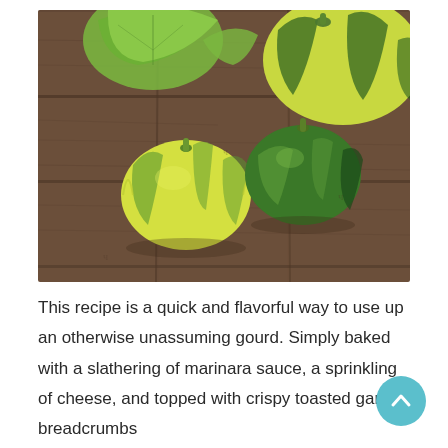[Figure (photo): Photograph of small round patty pan squash gourds in yellow-green coloring, resting on a dark wooden plank surface. Several gourds of varying sizes are visible, with green stems on top.]
This recipe is a quick and flavorful way to use up an otherwise unassuming gourd. Simply baked with a slathering of marinara sauce, a sprinkling of cheese, and topped with crispy toasted garlic breadcrumbs